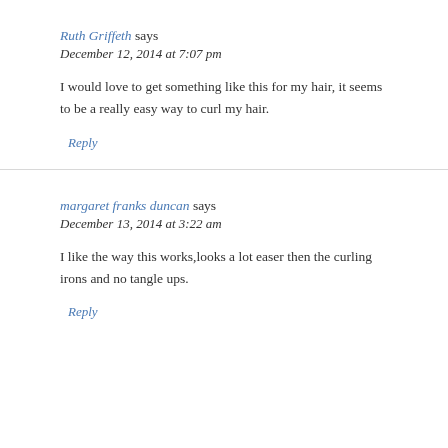Ruth Griffeth says
December 12, 2014 at 7:07 pm
I would love to get something like this for my hair, it seems to be a really easy way to curl my hair.
Reply
margaret franks duncan says
December 13, 2014 at 3:22 am
I like the way this works,looks a lot easer then the curling irons and no tangle ups.
Reply